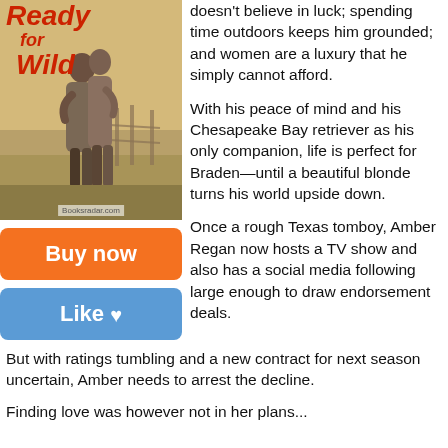[Figure (photo): Book cover for 'Ready for Wild' showing a couple embracing outdoors with a field in the background. Title text in red italic script. URL 'Booksradar.com' shown at bottom of cover.]
doesn't believe in luck; spending time outdoors keeps him grounded; and women are a luxury that he simply cannot afford.
With his peace of mind and his Chesapeake Bay retriever as his only companion, life is perfect for Braden—until a beautiful blonde turns his world upside down.
Once a rough Texas tomboy, Amber Regan now hosts a TV show and also has a social media following large enough to draw endorsement deals.
But with ratings tumbling and a new contract for next season uncertain, Amber needs to arrest the decline.
Finding love was however not in her plans...